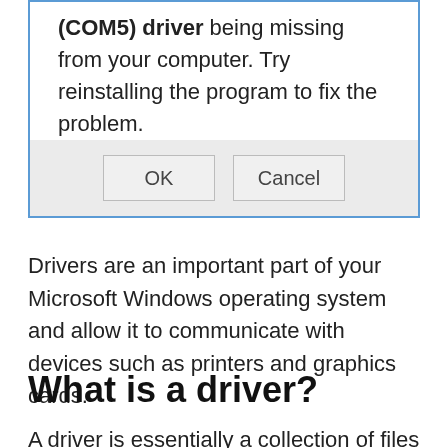[Figure (screenshot): A Windows dialog box with a blue border showing an error message about a (COM5) driver being missing from your computer, with OK and Cancel buttons.]
Drivers are an important part of your Microsoft Windows operating system and allow it to communicate with devices such as printers and graphics cards.
What is a driver?
A driver is essentially a collection of files that your